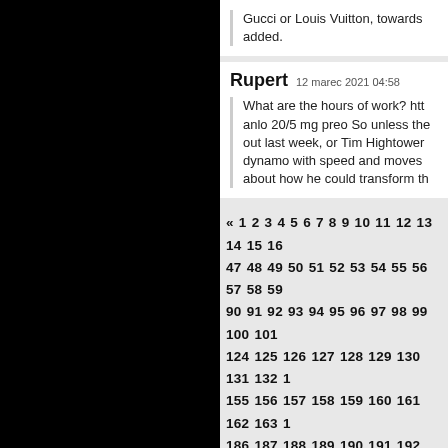Gucci or Louis Vuitton, towards added.
Rupert   12 marec 2021 04:58
What are the hours of work? http://... anlo 20/5 mg preo So unless the... out last week, or Tim Hightower... dynamo with speed and moves ... about how he could transform th...
« 1 2 3 4 5 6 7 8 9 10 11 12 13 14 15 16... 47 48 49 50 51 52 53 54 55 56 57 58 59... 90 91 92 93 94 95 96 97 98 99 100 101 ... 124 125 126 127 128 129 130 131 132 1... 155 156 157 158 159 160 161 162 163 1... 186 187 188 189 190 191 192 193 194 1... 217 218 219 220 221 222 223 224 225 2... 248 249 250 251 252 253 254 255 256 2... 279 280 281 282 283 284 285 286 287 2... 310 311 312 313 314 315 316 317 318 3...